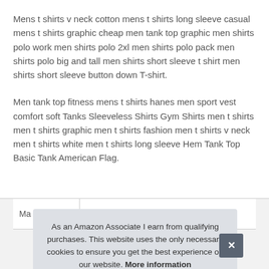Mens t shirts v neck cotton mens t shirts long sleeve casual mens t shirts graphic cheap men tank top graphic men shirts polo work men shirts polo 2xl men shirts polo pack men shirts polo big and tall men shirts short sleeve t shirt men shirts short sleeve button down T-shirt.
Men tank top fitness mens t shirts hanes men sport vest comfort soft Tanks Sleeveless Shirts Gym Shirts men t shirts men t shirts graphic men t shirts fashion men t shirts v neck men t shirts white men t shirts long sleeve Hem Tank Top Basic Tank American Flag.
As an Amazon Associate I earn from qualifying purchases. This website uses the only necessary cookies to ensure you get the best experience on our website. More information